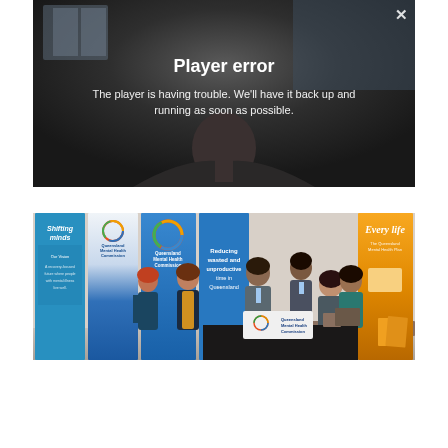[Figure (screenshot): Video player error overlay on a dark video background showing a person's silhouette. Error message reads 'Player error' and 'The player is having trouble. We’ll have it back up and running as soon as possible.' with an X close button in top right.]
[Figure (photo): Conference/exhibition photo showing Queensland Mental Health Commission display booth with rollup banners including 'Shifting minds', 'Queensland Mental Health Commission', 'Reducing wasted and unproductive time in Queensland', and 'Every life'. Six staff members posed at and behind a desk with QMH branded signage.]